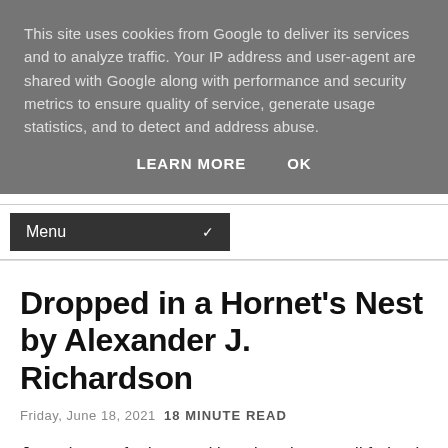This site uses cookies from Google to deliver its services and to analyze traffic. Your IP address and user-agent are shared with Google along with performance and security metrics to ensure quality of service, generate usage statistics, and to detect and address abuse.
LEARN MORE   OK
Menu
Dropped in a Hornet's Nest by Alexander J. Richardson
Friday, June 18, 2021 18 MINUTE READ
Jaren is out of prison and keeping clean, until federal agent Billings extorts him into insinuating himself into Big Ma's